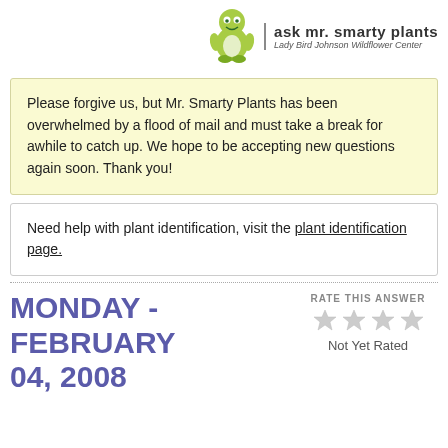[Figure (logo): Ask Mr. Smarty Plants logo with green cartoon mascot and text 'ask mr. smarty plants / Lady Bird Johnson Wildflower Center']
Please forgive us, but Mr. Smarty Plants has been overwhelmed by a flood of mail and must take a break for awhile to catch up. We hope to be accepting new questions again soon. Thank you!
Need help with plant identification, visit the plant identification page.
RATE THIS ANSWER
[Figure (illustration): Four empty/grey star rating icons]
Not Yet Rated
MONDAY - FEBRUARY 04, 2008